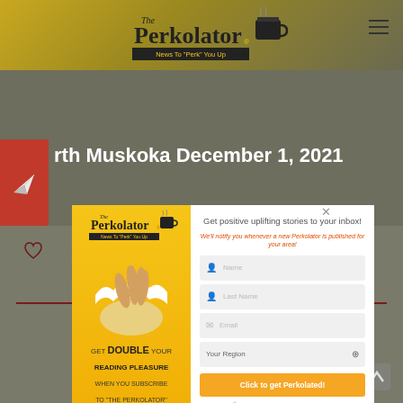The Perkolator - News To "Perk" You Up
North Muskoka December 1, 2021
[Figure (screenshot): Perkolator website screenshot showing header, title bar for North Muskoka December 1 2021, and a popup modal with subscription form and promo panel]
Get positive uplifting stories to your inbox! We'll notify you whenever a new Perkolator is published for your area!
GET DOUBLE YOUR READING PLEASURE WHEN YOU SUBSCRIBE TO "THE PERKOLATOR" ONLINE